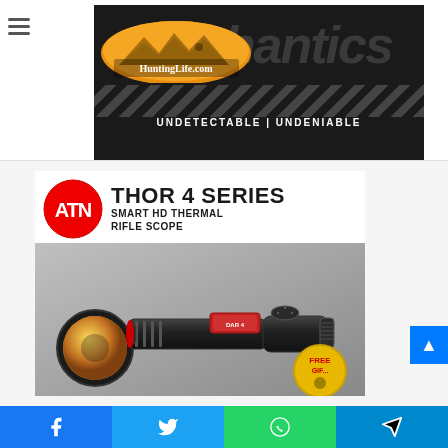[Figure (advertisement): HuntingLife.com website header advertisement with logo, background text and diagonal striped banner reading UNDETECTABLE | UNDENIABLE]
[Figure (advertisement): ATN Thor 4 Series Smart HD Thermal Rifle Scope advertisement showing a thermal rifle scope with ATN logo, product name, and Free Gift badge]
[Figure (screenshot): Social sharing bar at bottom with Facebook, Twitter, WhatsApp, and Telegram buttons]